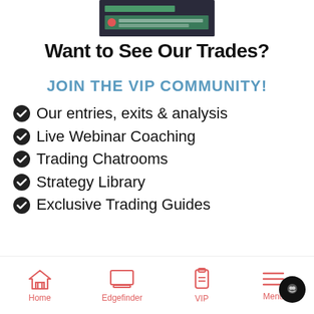[Figure (screenshot): Dark-background screenshot showing a trading/education interface with green highlighted text and a red bullet point]
Want to See Our Trades?
JOIN THE VIP COMMUNITY!
Our entries, exits & analysis
Live Webinar Coaching
Trading Chatrooms
Strategy Library
Exclusive Trading Guides
Use Code "READER" for 10% OFF!
[Figure (other): Red/coral JOIN NOW button]
[Figure (other): Navigation bar with Home, Edgefinder, VIP, Menu icons in red/coral color]